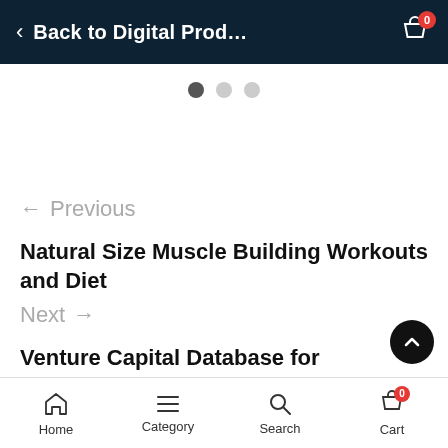Back to Digital Prod...
[Figure (other): Pagination dots: three circles, first (active/dark), second and third (inactive/light)]
← Previous
Natural Size Muscle Building Workouts and Diet
Next →
Venture Capital Database for Startups/Entrepreneurs
Home  Category  Search  Cart